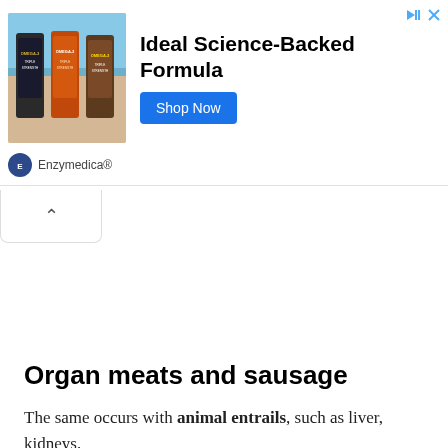[Figure (screenshot): Advertisement banner for Enzymedica Omega-3 supplement. Shows product bottles against beach background. Text reads 'Ideal Science-Backed Formula' with a 'Shop Now' button and Enzymedica brand logo.]
Organ meats and sausage
The same occurs with animal entrails, such as liver, kidneys,